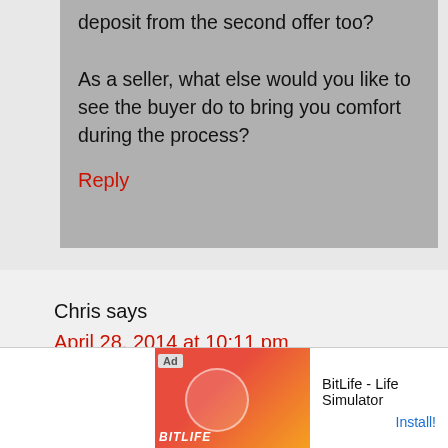deposit from the second offer too? As a seller, what else would you like to see the buyer do to bring you comfort during the process?
Reply
Chris says
April 28, 2014 at 10:11 pm
[Figure (screenshot): Advertisement banner for BitLife - Life Simulator app with red/orange background showing game graphics and install button]